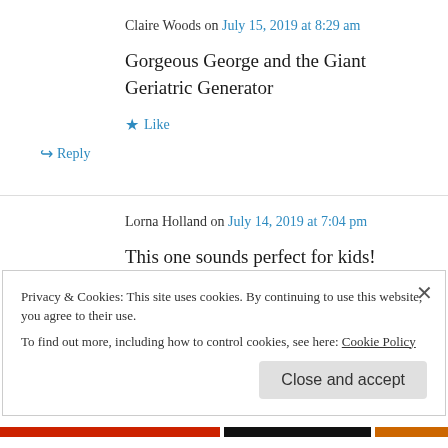Claire Woods on July 15, 2019 at 8:29 am
Gorgeous George and the Giant Geriatric Generator
★ Like
↪ Reply
Lorna Holland on July 14, 2019 at 7:04 pm
This one sounds perfect for kids! #readwithme
Privacy & Cookies: This site uses cookies. By continuing to use this website, you agree to their use.
To find out more, including how to control cookies, see here: Cookie Policy